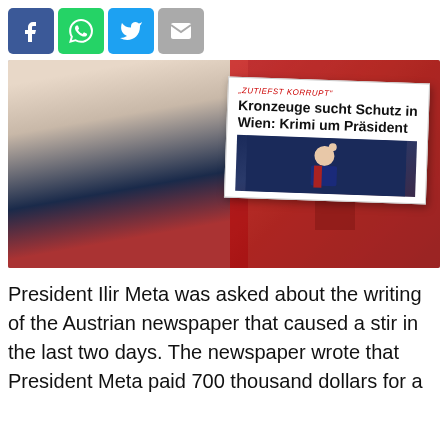[Figure (other): Social media sharing icons: Facebook (blue), WhatsApp (green), Twitter (blue), Email (grey)]
[Figure (photo): Photo of President Ilir Meta in a suit with red tie, Albanian flag in background, overlaid with newspaper clipping from Austrian newspaper with headline 'ZUTIEFST KORRUPT - Kronzeuge sucht Schutz in Wien: Krimi um Präsident' and a smaller photo of Meta gesturing]
President Ilir Meta was asked about the writing of the Austrian newspaper that caused a stir in the last two days. The newspaper wrote that President Meta paid 700 thousand dollars for a